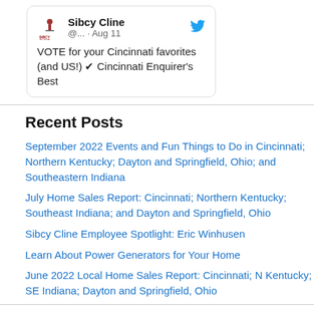[Figure (screenshot): Twitter/social media card for Sibcy Cline showing logo, name '@...' dated Aug 11, with tweet text: 'VOTE for your Cincinnati favorites (and US!) ✔ Cincinnati Enquirer's Best']
Recent Posts
September 2022 Events and Fun Things to Do in Cincinnati; Northern Kentucky; Dayton and Springfield, Ohio; and Southeastern Indiana
July Home Sales Report: Cincinnati; Northern Kentucky; Southeast Indiana; and Dayton and Springfield, Ohio
Sibcy Cline Employee Spotlight: Eric Winhusen
Learn About Power Generators for Your Home
June 2022 Local Home Sales Report: Cincinnati; N Kentucky; SE Indiana; Dayton and Springfield, Ohio
Sibcy Cline's Past Blogs